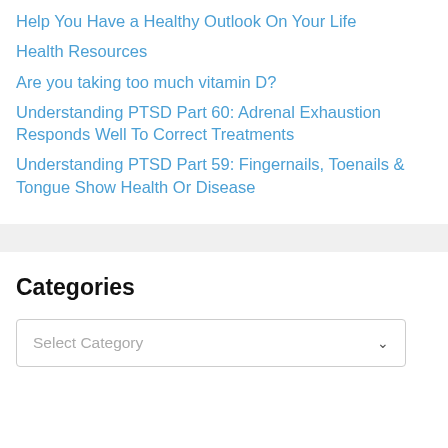Help You Have a Healthy Outlook On Your Life
Health Resources
Are you taking too much vitamin D?
Understanding PTSD Part 60: Adrenal Exhaustion Responds Well To Correct Treatments
Understanding PTSD Part 59: Fingernails, Toenails & Tongue Show Health Or Disease
Categories
Select Category